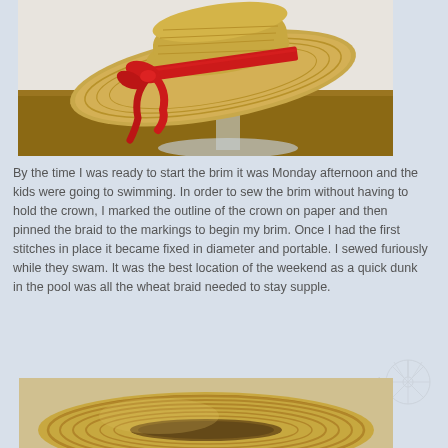[Figure (photo): A straw boater hat with a red ribbon/bow displayed on a clear glass stand on a wooden surface, photographed from the side.]
By the time I was ready to start the brim it was Monday afternoon and the kids were going to swimming. In order to sew the brim without having to hold the crown, I marked the outline of the crown on paper and then pinned the braid to the markings to begin my brim. Once I had the first stitches in place it became fixed in diameter and portable. I sewed furiously while they swam. It was the best location of the weekend as a quick dunk in the pool was all the wheat braid needed to stay supple.
[Figure (photo): A straw boater hat brim viewed from above/front showing the woven wheat braid coiled into a circular brim shape, partially visible at bottom of page.]